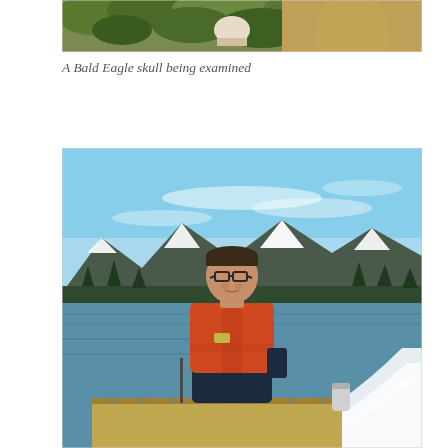[Figure (photo): Top portion of a photo showing a Bald Eagle skull being examined, with a person in a tan/khaki jacket visible and foliage in the background]
A Bald Eagle skull being examined
[Figure (photo): A person wearing glasses and an orange life vest sitting on a boat on calm water, with snow-capped mountains visible in the background under a blue sky]